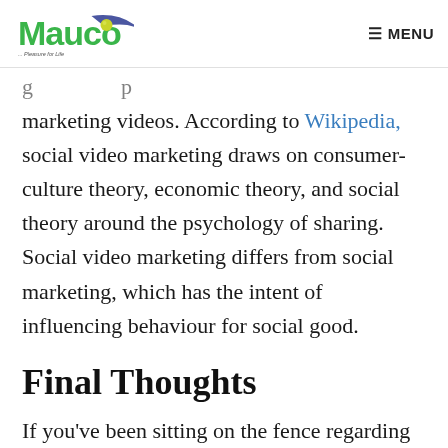Mauco ... MENU
marketing videos. According to Wikipedia, social video marketing draws on consumer-culture theory, economic theory, and social theory around the psychology of sharing. Social video marketing differs from social marketing, which has the intent of influencing behaviour for social good.
Final Thoughts
If you've been sitting on the fence regarding